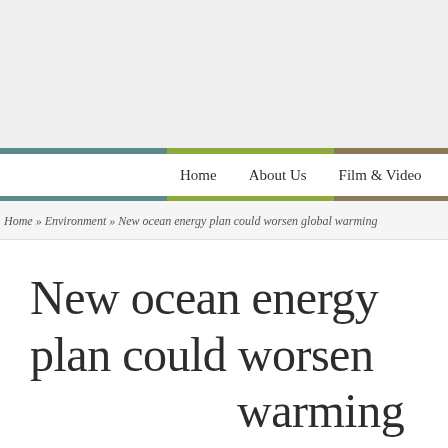Home   About Us   Film & Video   Casey C
Home » Environment » New ocean energy plan could worsen global warming
New ocean energy plan could worsen global warming
[Translate]